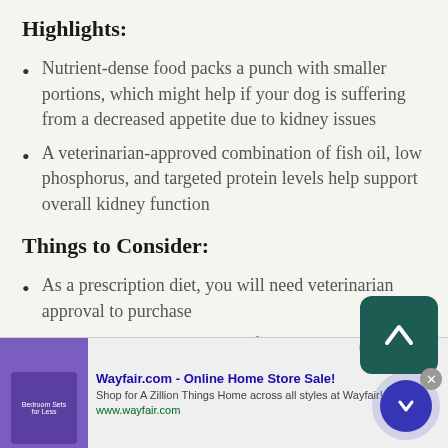Highlights:
Nutrient-dense food packs a punch with smaller portions, which might help if your dog is suffering from a decreased appetite due to kidney issues
A veterinarian-approved combination of fish oil, low phosphorus, and targeted protein levels help support overall kidney function
Things to Consider:
As a prescription diet, you will need veterinarian approval to purchase
There are multiple versions of the Royal Ca…
[Figure (screenshot): Wayfair.com online advertisement banner at bottom of page]